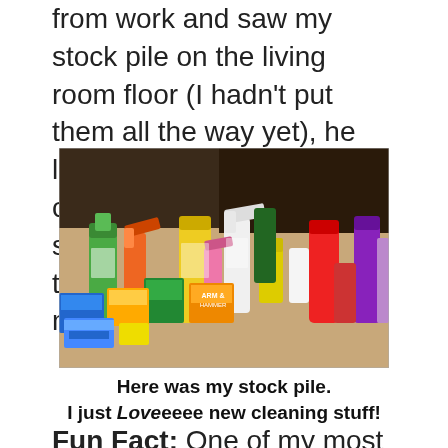from work and saw my stock pile on the living room floor (I hadn't put them all the way yet), he looked at me like I was crazy. Now he thinks I shouldn't be allowed to go to the dollar store by myself. LOL
[Figure (photo): A large stock pile of cleaning products and supplies spread out on a living room floor, including spray bottles, laundry detergent, dish soap, and other household cleaning items in colorful bottles and packages.]
Here was my stock pile.
I just Loveeee new cleaning stuff!
Fun Fact: One of my most favorite cleaning products is the Magic Eraser. This sponge thing